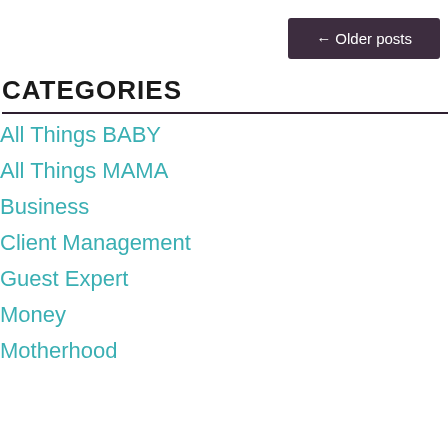← Older posts
CATEGORIES
All Things BABY
All Things MAMA
Business
Client Management
Guest Expert
Money
Motherhood